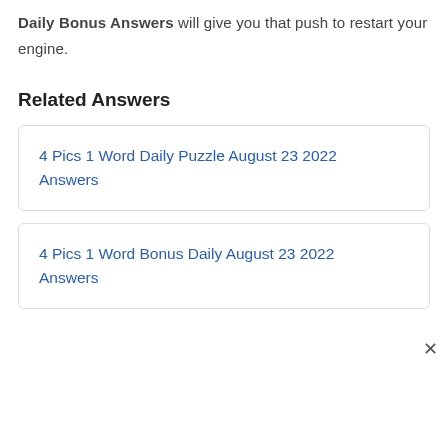Daily Bonus Answers will give you that push to restart your engine.
Related Answers
4 Pics 1 Word Daily Puzzle August 23 2022 Answers
4 Pics 1 Word Bonus Daily August 23 2022 Answers